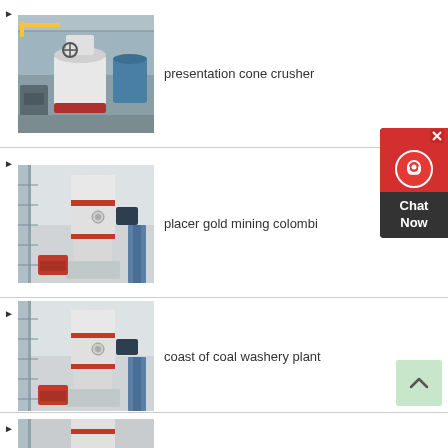presentation cone crusher
[Figure (photo): Industrial cone crusher machine in a factory warehouse]
placer gold mining colombi
[Figure (photo): Industrial grinding mill machine with red accent bands and scaffolding]
coast of coal washery plant
[Figure (photo): Industrial grinding mill machine with red accent bands and scaffolding (duplicate view)]
[Figure (photo): Partial view of another industrial machine at bottom of page]